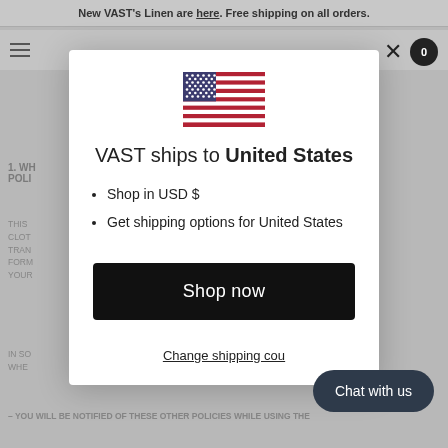New VAST's Linen are here. Free shipping on all orders.
VAST ships to United States
• Shop in USD $
• Get shipping options for United States
Shop now
Change shipping country
Chat with us
PRIVACY POLICY
1. WHAT IS THE SCOPE OF THIS PRIVACY POLICY
THIS ... CLOTHING ... TRANSFER ... FORM ... USE YOUR...
IN SO... WHEN... ENT:
– YOU WILL BE NOTIFIED OF THESE OTHER POLICIES WHILE USING THE